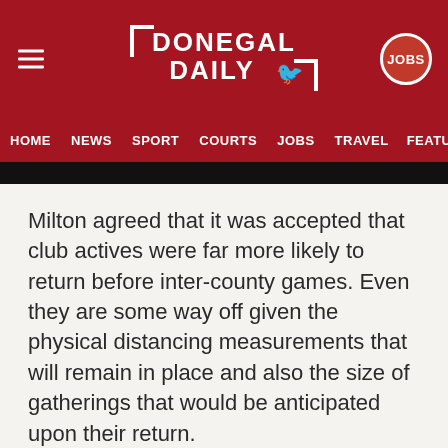DONEGAL DAILY
HOME NEWS SPORT COURTS JOBS TRAVEL FEATU
Milton agreed that it was accepted that club actives were far more likely to return before inter-county games. Even they are some way off given the physical distancing measurements that will remain in place and also the size of gatherings that would be anticipated upon their return.
“The inter-county game will necessitate a very different conversation,” Milton said.